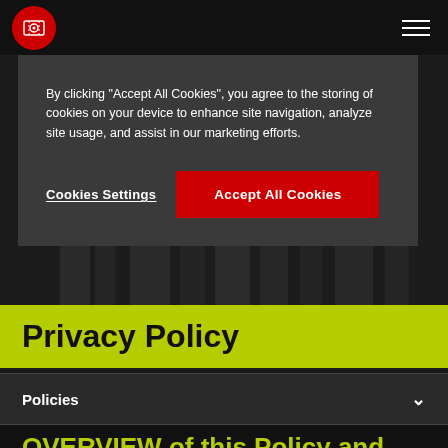[Figure (screenshot): Website header with red circle logo containing a camera/ticket icon on the left, and a hamburger menu icon on the right, on a dark background]
By clicking “Accept All Cookies”, you agree to the storing of cookies on your device to enhance site navigation, analyze site usage, and assist in our marketing efforts.
Cookies Settings
Accept All Cookies
Privacy Policy
Policies
OVERVIEW of this Policy and Commitments to Privacy of